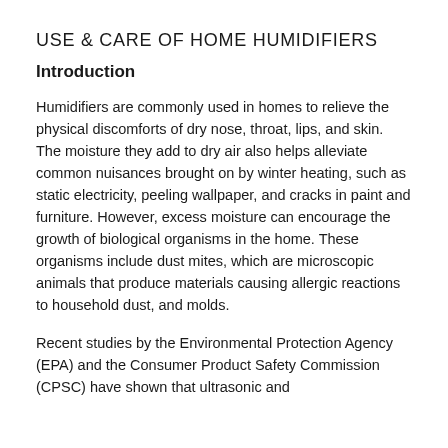USE & CARE OF HOME HUMIDIFIERS
Introduction
Humidifiers are commonly used in homes to relieve the physical discomforts of dry nose, throat, lips, and skin. The moisture they add to dry air also helps alleviate common nuisances brought on by winter heating, such as static electricity, peeling wallpaper, and cracks in paint and furniture. However, excess moisture can encourage the growth of biological organisms in the home. These organisms include dust mites, which are microscopic animals that produce materials causing allergic reactions to household dust, and molds.
Recent studies by the Environmental Protection Agency (EPA) and the Consumer Product Safety Commission (CPSC) have shown that ultrasonic and